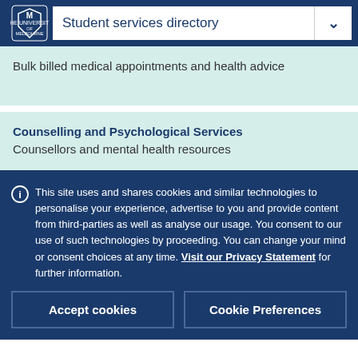Student services directory
Bulk billed medical appointments and health advice
Counselling and Psychological Services
Counsellors and mental health resources
This site uses and shares cookies and similar technologies to personalise your experience, advertise to you and provide content from third-parties as well as analyse our usage. You consent to our use of such technologies by proceeding. You can change your mind or consent choices at any time. Visit our Privacy Statement for further information.
Accept cookies
Cookie Preferences